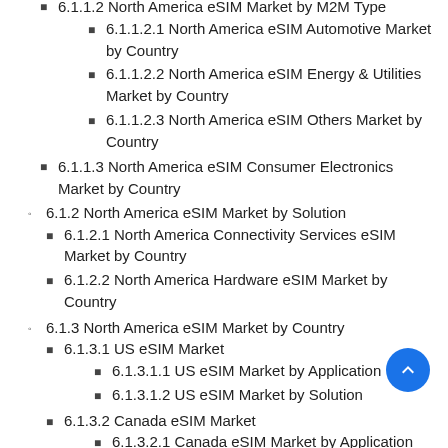6.1.1.2 North America eSIM Market by M2M Type
6.1.1.2.1 North America eSIM Automotive Market by Country
6.1.1.2.2 North America eSIM Energy & Utilities Market by Country
6.1.1.2.3 North America eSIM Others Market by Country
6.1.1.3 North America eSIM Consumer Electronics Market by Country
6.1.2 North America eSIM Market by Solution
6.1.2.1 North America Connectivity Services eSIM Market by Country
6.1.2.2 North America Hardware eSIM Market by Country
6.1.3 North America eSIM Market by Country
6.1.3.1 US eSIM Market
6.1.3.1.1 US eSIM Market by Application
6.1.3.1.2 US eSIM Market by Solution
6.1.3.2 Canada eSIM Market
6.1.3.2.1 Canada eSIM Market by Application